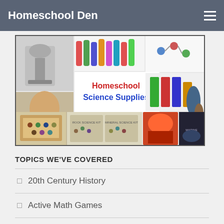Homeschool Den
[Figure (photo): Collage of homeschool science supplies including a microscope, chemistry sets, rock kits, minerals, and text reading 'Homeschool Science Supplies' in red and blue.]
TOPICS WE'VE COVERED
20th Century History
Active Math Games
Ages 2-6